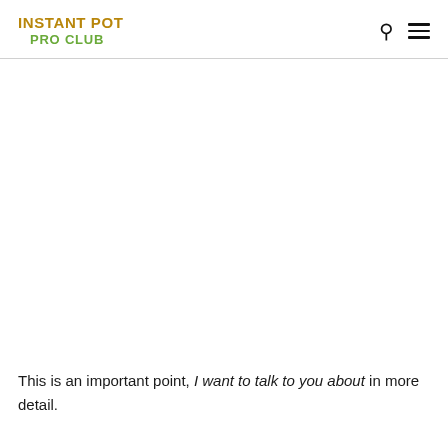INSTANT POT PRO CLUB
This is an important point, I want to talk to you about in more detail.